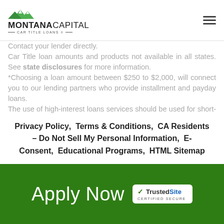Montana Capital Car Title Loans
Contact your lender directly. Car Title loan amounts and products not available in all states. See state disclosures for more information. *Choosing a loan amount between $250 to $2,000, will connect you to our lending partners who provide installment and payday loans. The use of high-interest loans services should be used for short-term financial needs only and not as a long-term financial solution. Customers with credit difficulties should seek credit counseling before entering into any loan transaction.
Privacy Policy, Terms & Conditions, CA Residents – Do Not Sell My Personal Information, E-Consent, Educational Programs, HTML Sitemap
Apply Now TrustedSite CERTIFIED SECURE